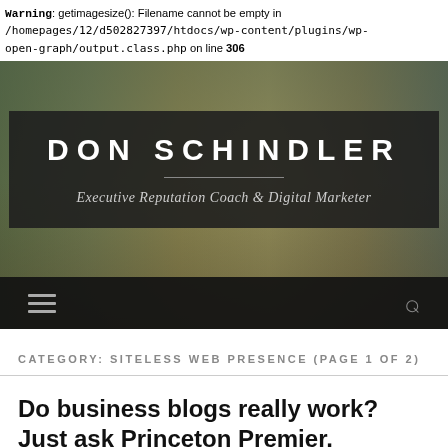Warning: getimagesize(): Filename cannot be empty in /homepages/12/d502827397/htdocs/wp-content/plugins/wp-open-graph/output.class.php on line 306
[Figure (photo): Hero banner image of a man raising his arms among cattle at a feedlot, with a dark semi-transparent overlay box showing the site title DON SCHINDLER and subtitle Executive Reputation Coach & Digital Marketer, and a dark navigation bar at the bottom with hamburger menu and search icon.]
CATEGORY: SITELESS WEB PRESENCE (PAGE 1 OF 2)
Do business blogs really work? Just ask Princeton Premier.